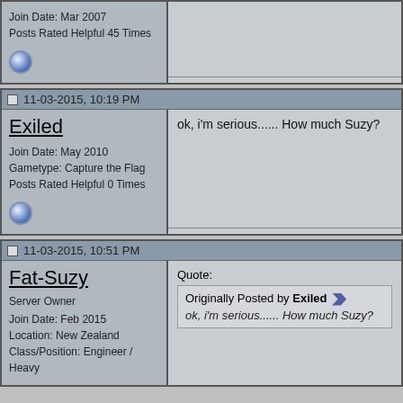Join Date: Mar 2007
Posts Rated Helpful 45 Times
11-03-2015, 10:19 PM
Exiled
Join Date: May 2010
Gametype: Capture the Flag
Posts Rated Helpful 0 Times
ok, i'm serious...... How much Suzy?
11-03-2015, 10:51 PM
Fat-Suzy
Server Owner
Join Date: Feb 2015
Location: New Zealand
Class/Position: Engineer / Heavy
Quote:
Originally Posted by Exiled
ok, i'm serious...... How much Suzy?